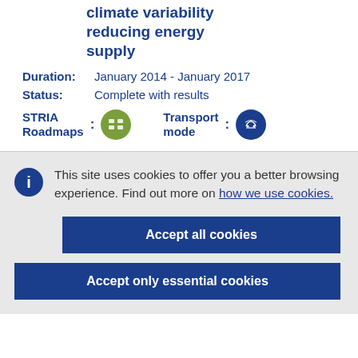climate variability reducing energy supply
Duration: January 2014 - January 2017
Status: Complete with results
STRIA Roadmaps : [icon] Transport mode : [icon]
This site uses cookies to offer you a better browsing experience. Find out more on how we use cookies.
Accept all cookies
Accept only essential cookies